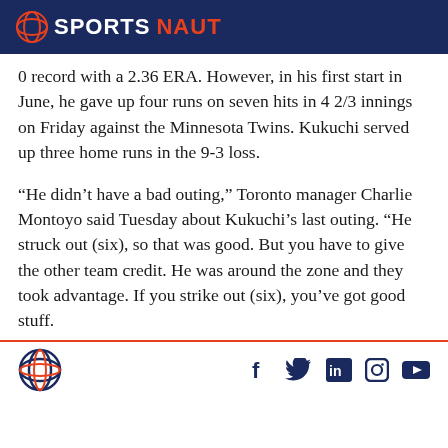SPORTSNAUT
0 record with a 2.36 ERA. However, in his first start in June, he gave up four runs on seven hits in 4 2/3 innings on Friday against the Minnesota Twins. Kukuchi served up three home runs in the 9-3 loss.
“He didn’t have a bad outing,” Toronto manager Charlie Montoyo said Tuesday about Kukuchi’s last outing. “He struck out (six), so that was good. But you have to give the other team credit. He was around the zone and they took advantage. If you strike out (six), you’ve got good stuff.
Sportsnaut logo and social media icons: Facebook, Twitter, LinkedIn, Instagram, YouTube